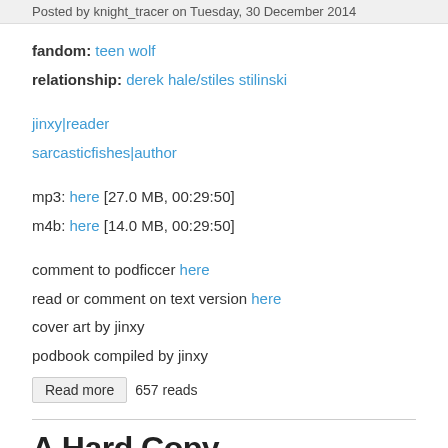Posted by knight_tracer on Tuesday, 30 December 2014
fandom: teen wolf
relationship: derek hale/stiles stilinski
jinxy|reader
sarcasticfishes|author
mp3: here [27.0 MB, 00:29:50]
m4b: here [14.0 MB, 00:29:50]
comment to podficcer here
read or comment on text version here
cover art by jinxy
podbook compiled by jinxy
Read more   657 reads
A Hard Copy
Posted by knight_tracer on Tuesday, 30 December 2014